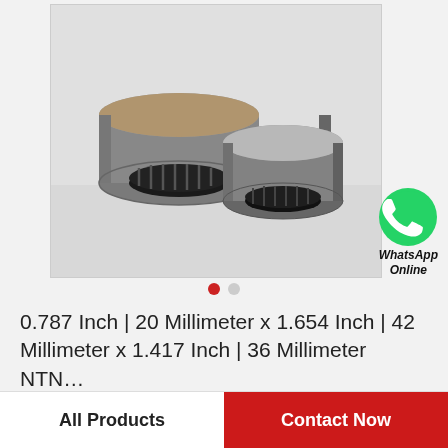[Figure (photo): Two cylindrical needle roller bearings (NTN brand) placed on a white surface. One bearing is shown from the top/front revealing the needle cage interior, the other is shown at an angle showing the outer ring.]
[Figure (logo): WhatsApp green circle icon with phone handset silhouette, with text 'WhatsApp Online' in italic bold below.]
0.787 Inch | 20 Millimeter x 1.654 Inch | 42 Millimeter x 1.417 Inch | 36 Millimeter NTN...
All Products
Contact Now